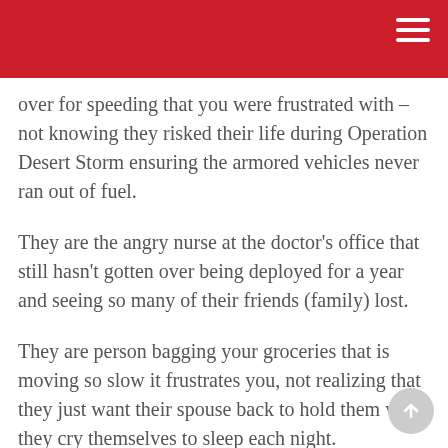over for speeding that you were frustrated with – not knowing they risked their life during Operation Desert Storm ensuring the armored vehicles never ran out of fuel.
They are the angry nurse at the doctor’s office that still hasn’t gotten over being deployed for a year and seeing so many of their friends (family) lost.
They are person bagging your groceries that is moving so slow it frustrates you, not realizing that they just want their spouse back to hold them when they cry themselves to sleep each night.